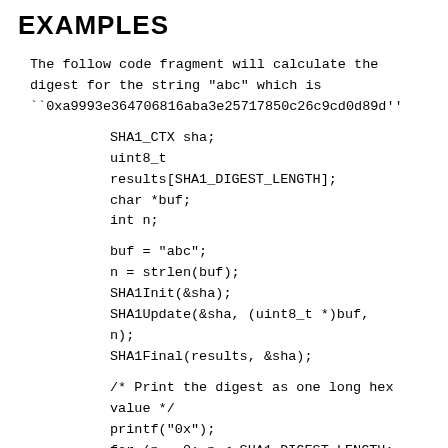EXAMPLES
The follow code fragment will calculate the digest for the string "abc" which is ``0xa9993e364706816aba3e25717850c26c9cd0d89d''
SHA1_CTX sha;
uint8_t
results[SHA1_DIGEST_LENGTH];
char *buf;
int n;

buf = "abc";
n = strlen(buf);
SHA1Init(&sha);
SHA1Update(&sha, (uint8_t *)buf, n);
SHA1Final(results, &sha);

/* Print the digest as one long hex value */
printf("0x");
for (n = 0; n < SHA1_DIGEST_LENGTH;